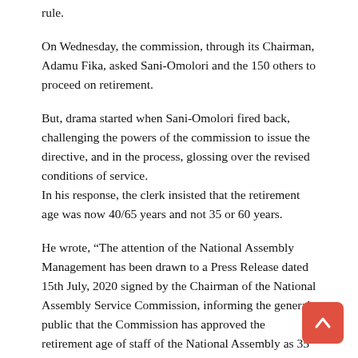rule.
On Wednesday, the commission, through its Chairman, Adamu Fika, asked Sani-Omolori and the 150 others to proceed on retirement.
But, drama started when Sani-Omolori fired back, challenging the powers of the commission to issue the directive, and in the process, glossing over the revised conditions of service. In his response, the clerk insisted that the retirement age was now 40/65 years and not 35 or 60 years.
He wrote, “The attention of the National Assembly Management has been drawn to a Press Release dated 15th July, 2020 signed by the Chairman of the National Assembly Service Commission, informing the general public that the Commission has approved the retirement age of staff of the National Assembly as 35 years of service or 60 years of age whichever comes first.
“The Management of the National Assembly wishes to inform all staff and the general public that the extant regulation as contained in our Revised Conditions of Service duly passed by both Chambers of the the National Assembly at the meeting...